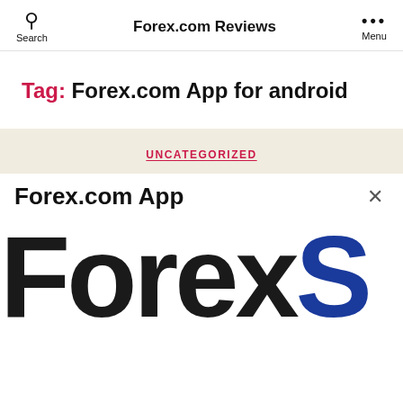Forex.com Reviews
Tag: Forex.com App for android
UNCATEGORIZED
Forex.com App
[Figure (logo): Large bold text 'Forex' in dark black and 'S' in dark blue, cropped logo]